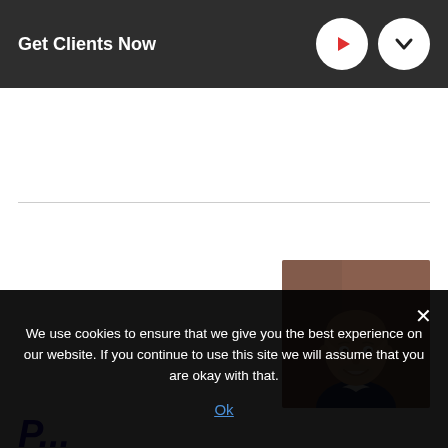Get Clients Now
[Figure (photo): Headshot photo of a bald, smiling middle-aged man in a dark blazer, against a blurred outdoor background]
We use cookies to ensure that we give you the best experience on our website. If you continue to use this site we will assume that you are okay with that.
Ok